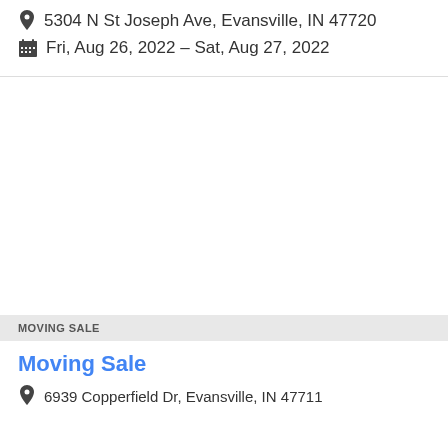5304 N St Joseph Ave, Evansville, IN 47720
Fri, Aug 26, 2022 – Sat, Aug 27, 2022
[Figure (map): Map area placeholder, white space]
MOVING SALE
Moving Sale
6939 Copperfield Dr, Evansville, IN 47711